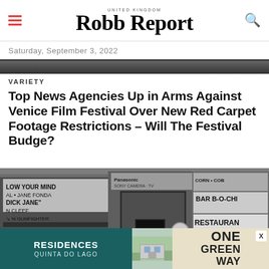UNITED KINGDOM Robb Report
Saturday, September 3, 2022
[Figure (photo): Cropped top portion of a photograph visible at the top of the article area]
VARIETY
Top News Agencies Up in Arms Against Venice Film Festival Over New Red Carpet Footage Restrictions – Will The Festival Budge?
[Figure (photo): Black and white street scene photograph showing a movie theater marquee reading 'LOW YOUR MIND AL JANE FONDA DICK JANE N CLEEF GUNFIGHTER', a Panasonic storefront, and a Bar B-Q Chili Restaurant, with people in the foreground]
[Figure (other): Advertisement banner: RESIDENCES QUINTA DO LAGO | ONE GREEN WAY with property image in center]